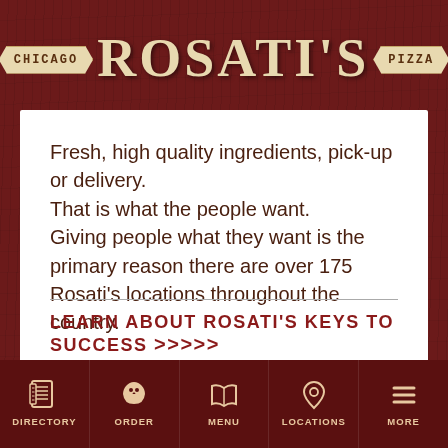[Figure (logo): Rosati's Chicago Pizza logo with banner ribbons on dark wood background. Left banner: CHICAGO, Right banner: PIZZA, Center large text: ROSATI'S]
Fresh, high quality ingredients, pick-up or delivery. That is what the people want. Giving people what they want is the primary reason there are over 175 Rosati's locations throughout the country.
LEARN ABOUT ROSATI'S KEYS TO SUCCESS >>>>>
DIRECTORY   ORDER   MENU   LOCATIONS   MORE